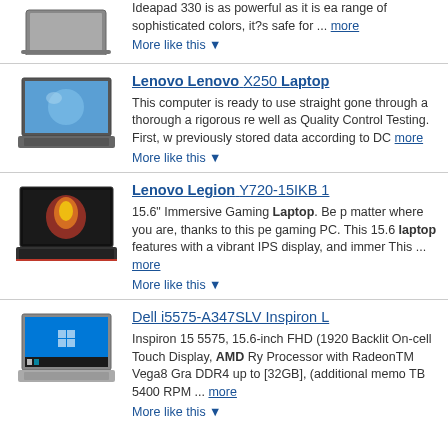[Figure (photo): Laptop computer - partial view at top of page]
Ideapad 330 is as powerful as it is easy range of sophisticated colors, it?s safe for ... more
More like this ▼
Lenovo Lenovo X250 Laptop
[Figure (photo): Lenovo X250 laptop with blue screen background]
This computer is ready to use straight gone through a thorough a rigorous re well as Quality Control Testing. First, w previously stored data according to DC more
More like this ▼
Lenovo Legion Y720-15IKB 1
[Figure (photo): Lenovo Legion gaming laptop with red backlit keyboard]
15.6" Immersive Gaming Laptop. Be p matter where you are, thanks to this pe gaming PC. This 15.6 laptop features with a vibrant IPS display, and immer This ... more
More like this ▼
Dell i5575-A347SLV Inspiron L
[Figure (photo): Dell Inspiron laptop with Windows desktop]
Inspiron 15 5575, 15.6-inch FHD (1920 Backlit On-cell Touch Display, AMD Ry Processor with RadeonTM Vega8 Gra DDR4 up to [32GB], (additional memo TB 5400 RPM ... more
More like this ▼